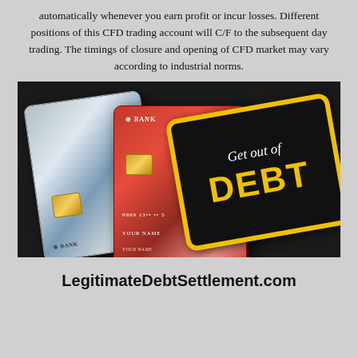automatically whenever you earn profit or incur losses. Different positions of this CFD trading account will C/F to the subsequent day trading. The timings of closure and opening of CFD market may vary according to industrial norms.
[Figure (illustration): Two bank credit cards (one silver/blue, one red) displayed against a dark background, with a large black and yellow stamp overlaid reading 'Get out of DEBT' in italic and bold text.]
LegitimateDebtSettlement.com